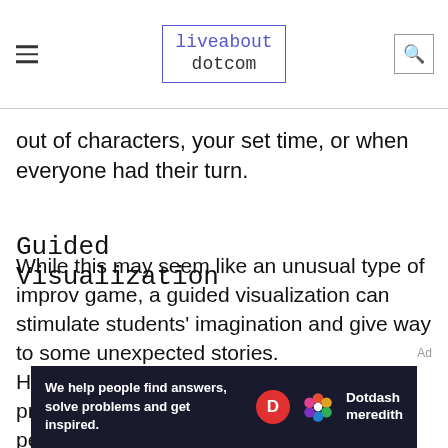liveabout dotcom
out of characters, your set time, or when everyone had their turn.
Guided Visualization
While this may seem like an unusual type of improv game, a guided visualization can stimulate students' imagination and give way to some unexpected stories.
Have your participants close their eyes and prompt them to imagine various things, people, trips, places, events. Don't specify anything, besides
[Figure (other): Dotdash Meredith advertisement banner: 'We help people find answers, solve problems and get inspired.' with D logo and colorful flower logo.]